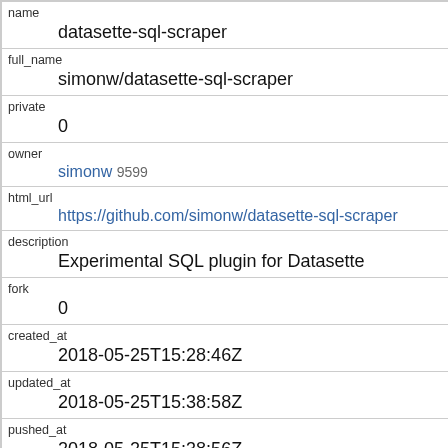| field | value |
| --- | --- |
| name | datasette-sql-scraper |
| full_name | simonw/datasette-sql-scraper |
| private | 0 |
| owner | simonw 9599 |
| html_url | https://github.com/simonw/datasette-sql-scraper |
| description | Experimental SQL plugin for Datasette |
| fork | 0 |
| created_at | 2018-05-25T15:28:46Z |
| updated_at | 2018-05-25T15:38:58Z |
| pushed_at | 2018-05-25T15:38:56Z |
| homepage |  |